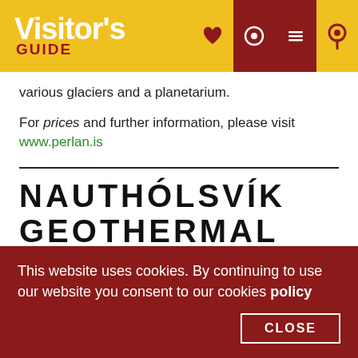Visitor's GUIDE
various glaciers and a planetarium.
For prices and further information, please visit www.perlan.is
NAUTHÓLSVÍK GEOTHERMAL BEACH
At the bottom of the Öskjuhlíð hill, you can find the
This website uses cookies. By continuing to use our website you consent to our cookies policy